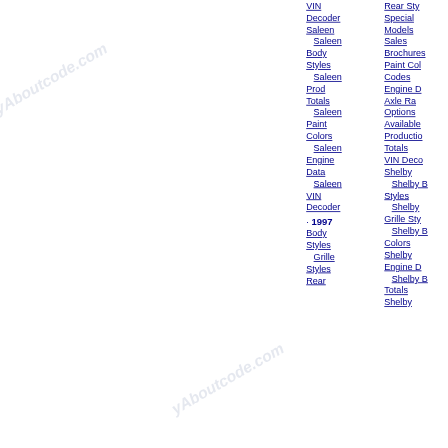VIN Decoder
Saleen
Saleen Body Styles
Saleen Prod Totals
Saleen Paint Colors
Saleen Engine Data
Saleen VIN Decoder
· 1997
Body Styles
Grille Styles
Rear
Special Models
Sales Brochures
Paint Color Codes
Engine Data
Axle Ratio Options
Available Production Totals
VIN Decoder
Shelby
Shelby Body Styles
Shelby Grille Styles
Shelby Body Colors
Shelby Engine Data
Shelby Body Totals
Shelby